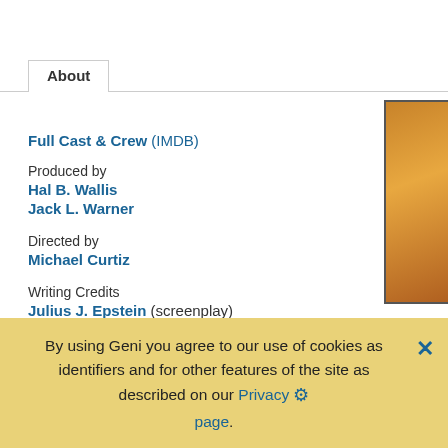About
Full Cast & Crew (IMDB)
Produced by
Hal B. Wallis
Jack L. Warner
Directed by
Michael Curtiz
Writing Credits
Julius J. Epstein (screenplay)
Philip G. Epstein (screenplay)
Howard Koch (screenplay)
By using Geni you agree to our use of cookies as identifiers and for other features of the site as described on our Privacy page.